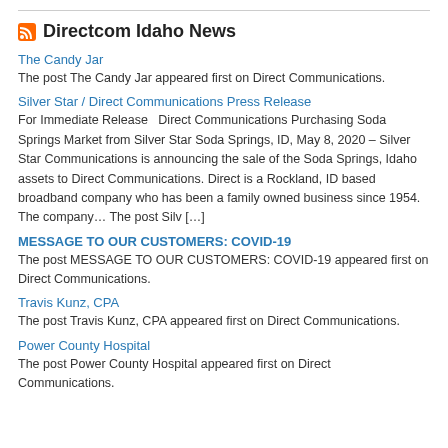Directcom Idaho News
The Candy Jar
The post The Candy Jar appeared first on Direct Communications.
Silver Star / Direct Communications Press Release
For Immediate Release   Direct Communications Purchasing Soda Springs Market from Silver Star Soda Springs, ID, May 8, 2020 – Silver Star Communications is announcing the sale of the Soda Springs, Idaho assets to Direct Communications. Direct is a Rockland, ID based broadband company who has been a family owned business since 1954. The company… The post Silv […]
MESSAGE TO OUR CUSTOMERS: COVID-19
The post MESSAGE TO OUR CUSTOMERS: COVID-19 appeared first on Direct Communications.
Travis Kunz, CPA
The post Travis Kunz, CPA appeared first on Direct Communications.
Power County Hospital
The post Power County Hospital appeared first on Direct Communications.